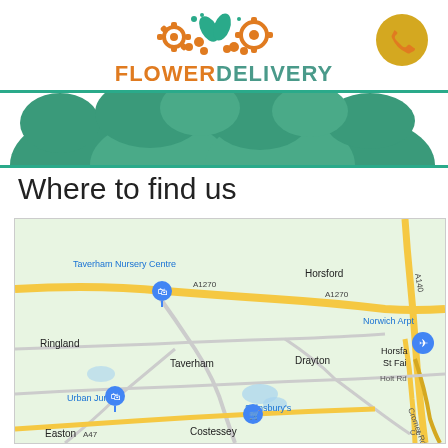[Figure (logo): FlowerDelivery logo with orange gear/flower icons and teal leaf icons, orange and teal text]
[Figure (illustration): Decorative green flower/foliage silhouette banner]
Where to find us
[Figure (map): Google Maps screenshot showing Taverham, Norwich area with locations: Taverham Nursery Centre, Horsford, Ringland, Taverham, Urban Jungle, Drayton, Norwich Arpt, Horsham St Fai, Sainsbury's, Easton, Costessey. Roads A1270, A140, A47 visible.]